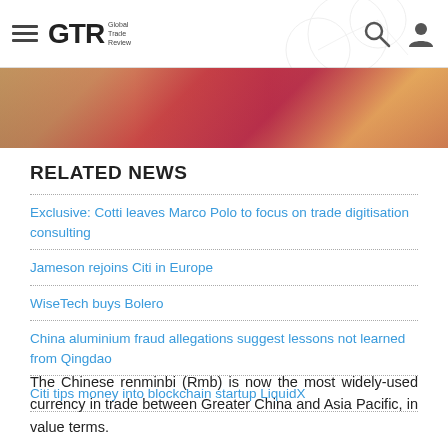GTR Global Trade Review
[Figure (photo): Chinese renminbi banknotes, colorful currency photo strip]
RELATED NEWS
Exclusive: Cotti leaves Marco Polo to focus on trade digitisation consulting
Jameson rejoins Citi in Europe
WiseTech buys Bolero
China aluminium fraud allegations suggest lessons not learned from Qingdao
Citi tips money into blockchain startup LiquidX
The Chinese renminbi (Rmb) is now the most widely-used currency in trade between Greater China and Asia Pacific, in value terms.